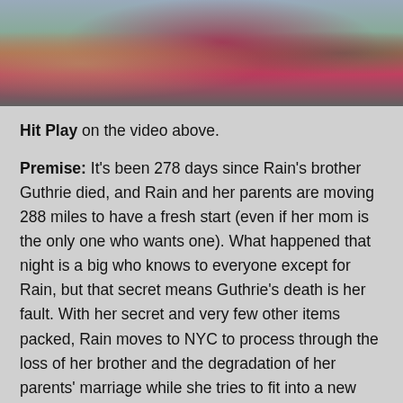[Figure (photo): Partial photo of a person wearing a red/maroon polka dot top, with another person visible in the background, appearing to be a video thumbnail or book review screenshot.]
Hit Play on the video above.
Premise: It's been 278 days since Rain's brother Guthrie died, and Rain and her parents are moving 288 miles to have a fresh start (even if her mom is the only one who wants one). What happened that night is a big who knows to everyone except for Rain, but that secret means Guthrie's death is her fault. With her secret and very few other items packed, Rain moves to NYC to process through the loss of her brother and the degradation of her parents' marriage while she tries to fit into a new environment where she's off on the wrong foot. (Check out the motifs section, there's a ton of issues brought up by this book — and all well done.)